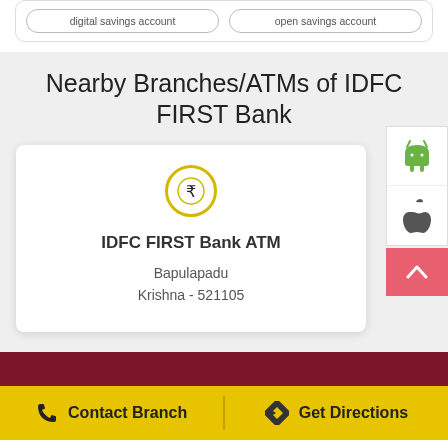digital savings account | open savings account
Nearby Branches/ATMs of IDFC FIRST Bank
[Figure (other): ATM card showing IDFC FIRST Bank ATM at Bapulapadu, Krishna - 521105 with rupee coin icon]
IDFC FIRST Bank ATM
Bapulapadu
Krishna - 521105
[Figure (other): Android app badge icon (green Android robot)]
[Figure (other): Apple iOS app badge icon (Apple logo)]
Contact Branch
Get Directions